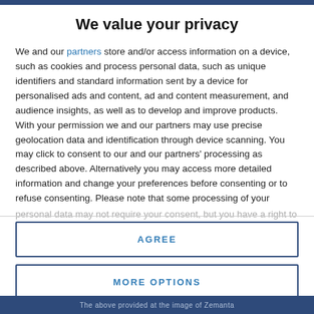We value your privacy
We and our partners store and/or access information on a device, such as cookies and process personal data, such as unique identifiers and standard information sent by a device for personalised ads and content, ad and content measurement, and audience insights, as well as to develop and improve products. With your permission we and our partners may use precise geolocation data and identification through device scanning. You may click to consent to our and our partners’ processing as described above. Alternatively you may access more detailed information and change your preferences before consenting or to refuse consenting. Please note that some processing of your personal data may not require your consent, but you have a right to
AGREE
MORE OPTIONS
The above provided at the image of Zemanta